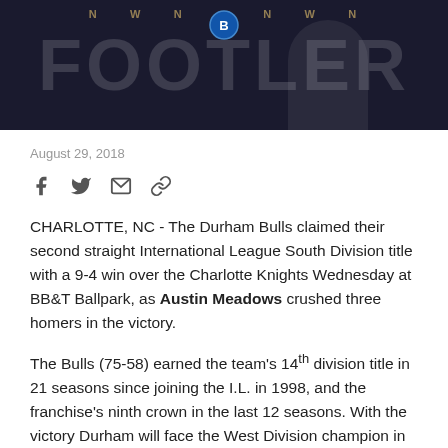[Figure (photo): Dark banner image with large faded text and Durham Bulls branding]
August 29, 2018
[Figure (infographic): Social sharing icons: Facebook, Twitter, Email, Link]
CHARLOTTE, NC - The Durham Bulls claimed their second straight International League South Division title with a 9-4 win over the Charlotte Knights Wednesday at BB&T Ballpark, as Austin Meadows crushed three homers in the victory.
The Bulls (75-58) earned the team's 14th division title in 21 seasons since joining the I.L. in 1998, and the franchise's ninth crown in the last 12 seasons. With the victory Durham will face the West Division champion in the First Round of the Governors' Cup playoffs beginning September 5.